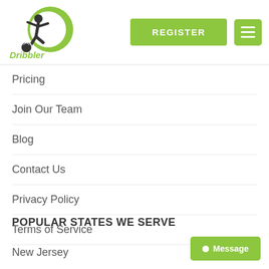[Figure (logo): Dribbler logo with soccer player silhouette and green D letter and italic text 'Dribbler']
Pricing
Join Our Team
Blog
Contact Us
Privacy Policy
Terms of Service
POPULAR STATES WE SERVE
New Jersey